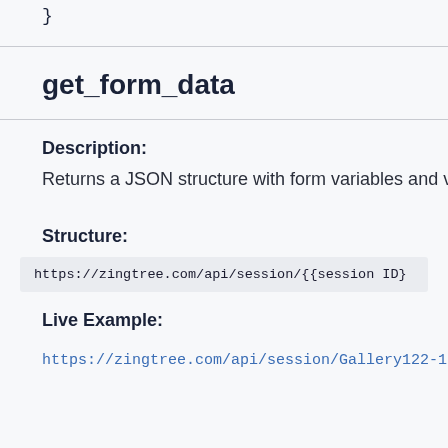}
get_form_data
Description:
Returns a JSON structure with form variables and value
Structure:
https://zingtree.com/api/session/{{session ID}
Live Example:
https://zingtree.com/api/session/Gallery122-1